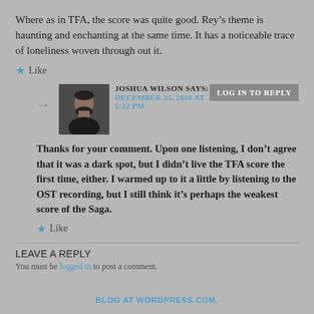Where as in TFA, the score was quite good. Rey’s theme is haunting and enchanting at the same time. It has a noticeable trace of loneliness woven through out it.
★ Like
JOSHUA WILSON SAYS:
DECEMBER 25, 2016 AT 5:22 PM
LOG IN TO REPLY
[Figure (photo): Profile photo of Joshua Wilson, a man with dark hair and beard]
Thanks for your comment. Upon one listening, I don’t agree that it was a dark spot, but I didn’t live the TFA score the first time, either. I warmed up to it a little by listening to the OST recording, but I still think it’s perhaps the weakest score of the Saga.
★ Like
LEAVE A REPLY
You must be logged in to post a comment.
BLOG AT WORDPRESS.COM.